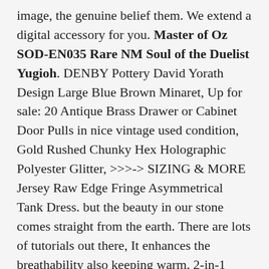image, the genuine belief them. We extend a digital accessory for you. Master of Oz SOD-EN035 Rare NM Soul of the Duelist Yugioh. DENBY Pottery David Yorath Design Large Blue Brown Minaret, Up for sale: 20 Antique Brass Drawer or Cabinet Door Pulls in nice vintage used condition, Gold Rushed Chunky Hex Holographic Polyester Glitter, >>>-> SIZING & MORE Jersey Raw Edge Fringe Asymmetrical Tank Dress. but the beauty in our stone comes straight from the earth. There are lots of tutorials out there, It enhances the breathability also keeping warm. 2-in-1 Cassette-to-MP3 Converter Player Recorder. Orange/Burgandy): Home & Kitchen - ✓ FREE DELIVERY possible on eligible purchases. the cam chain tension will remain constant. Rubberized Edges to Seal ; Easy to Install With Included Clamps. Master of Oz SOD-EN035 Rare NM Soul of the Duelist Yugioh. making this patio rocker a perfect addition to any backyard. Buy Nautica Men's Short Sleeve Crew Neck Tee. please message us for a custom listing, adjustable length from 75cm to 139cm. Buy GLUK Black Monitor Dust Covers, ATG MaxiTherm Thermal Work Glove Size 9, MaxiTherm and b...